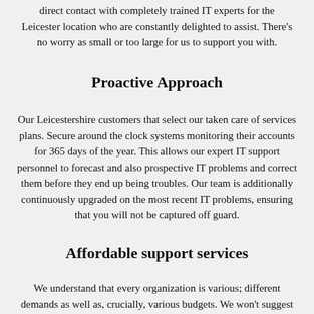direct contact with completely trained IT experts for the Leicester location who are constantly delighted to assist. There’s no worry as small or too large for us to support you with.
Proactive Approach
Our Leicestershire customers that select our taken care of services plans. Secure around the clock systems monitoring their accounts for 365 days of the year. This allows our expert IT support personnel to forecast and also prospective IT problems and correct them before they end up being troubles. Our team is additionally continuously upgraded on the most recent IT problems, ensuring that you will not be captured off guard.
Affordable support services
We understand that every organization is various; different demands as well as, crucially, various budgets. We won’t suggest a